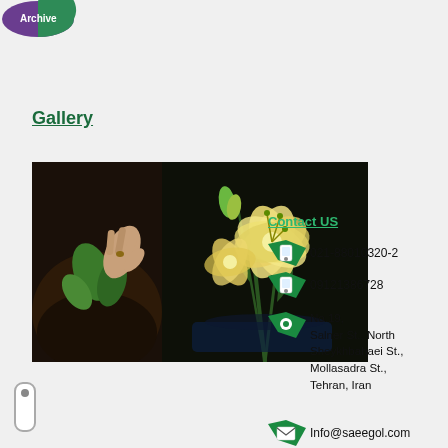[Figure (logo): Circular logo with 'Archive' text, purple and green halves]
Gallery
[Figure (photo): Two side-by-side photos: left shows a hand planting a seed in dark soil with green leaves; right shows yellow/white lily flowers on dark background]
Contact US
021-88010320-2
09121386728
No.19, Salner St., North Sheykhbahaei St., Mollasadra St., Tehran, Iran
Info@saeegol.com